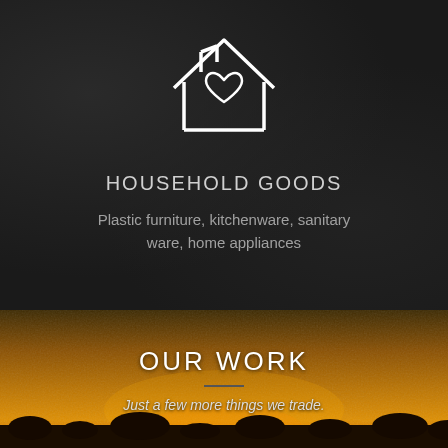[Figure (illustration): White outline icon of a house with a heart shape in the center, on a dark textured background]
HOUSEHOLD GOODS
Plastic furniture, kitchenware, sanitary ware, home appliances
[Figure (photo): Sunset landscape photo with warm golden-orange tones, silhouetted trees/vegetation at the bottom, and a golden dusty sky]
OUR WORK
Just a few more things we trade.